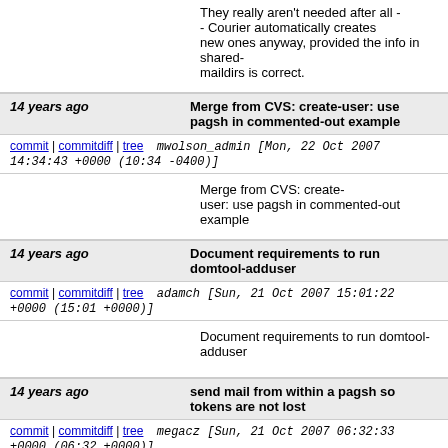They really aren't needed after all - - Courier automatically creates new ones anyway, provided the info in shared-maildirs is correct.
14 years ago   Merge from CVS: create-user: use pagsh in commented-out example
commit | commitdiff | tree   mwolson_admin [Mon, 22 Oct 2007 14:34:43 +0000 (10:34 -0400)]
Merge from CVS: create-user: use pagsh in commented-out example
14 years ago   Document requirements to run domtool-adduser
commit | commitdiff | tree   adamch [Sun, 21 Oct 2007 15:01:22 +0000 (15:01 +0000)]
Document requirements to run domtool-adduser
14 years ago   send mail from within a pagsh so tokens are not lost
commit | commitdiff | tree   megacz [Sun, 21 Oct 2007 06:32:33 +0000 (06:32 +0000)]